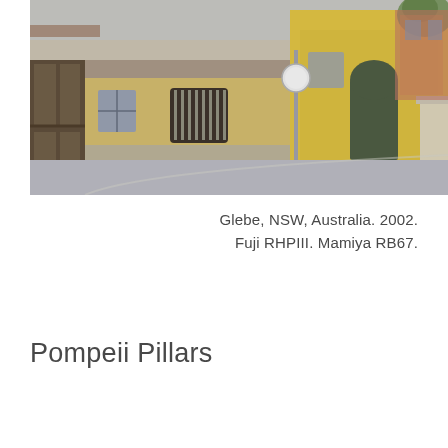[Figure (photo): Street photograph of old yellow-rendered brick buildings in Glebe, NSW, Australia. A low single-storey building with arched barred window is in the foreground, with taller yellow-painted terrace houses behind. A street sign pole is visible, and a wooden gate is on the left. The street curves away to the right.]
Glebe, NSW, Australia. 2002.
Fuji RHPIII. Mamiya RB67.
Pompeii Pillars